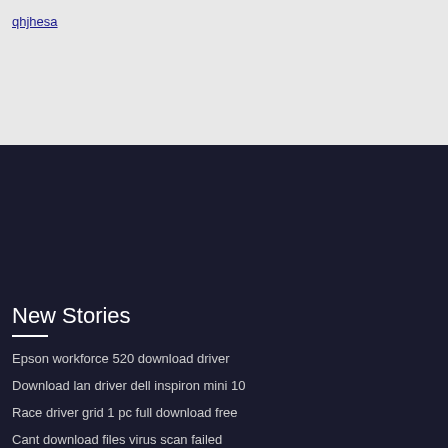qhjhesa
New Stories
Epson workforce 520 download driver
Download lan driver dell inspiron mini 10
Race driver grid 1 pc full download free
Cant download files virus scan failed
App for downloading video android
Featured
Vivian ult sound file download